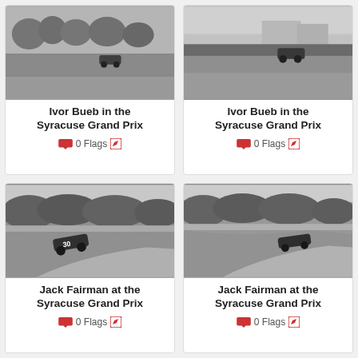[Figure (photo): Black and white photo of Ivor Bueb racing car at the Syracuse Grand Prix, car on a road with trees in background]
Ivor Bueb in the Syracuse Grand Prix
0 Flags
[Figure (photo): Black and white photo of Ivor Bueb racing car at the Syracuse Grand Prix, car on road with buildings and hedges in background]
Ivor Bueb in the Syracuse Grand Prix
0 Flags
[Figure (photo): Black and white photo of Jack Fairman racing car number 30 at the Syracuse Grand Prix, navigating a curve with hedges]
Jack Fairman at the Syracuse Grand Prix
0 Flags
[Figure (photo): Black and white photo of Jack Fairman racing car at the Syracuse Grand Prix, navigating a curve with hedges]
Jack Fairman at the Syracuse Grand Prix
0 Flags